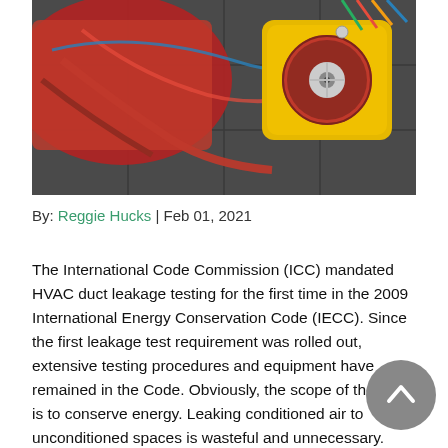[Figure (photo): Photo of HVAC duct leakage testing equipment — a yellow blower door fan device with a red circular fan face, red fabric frame, and various cables and hoses, sitting on a dark tile floor.]
By: Reggie Hucks | Feb 01, 2021
The International Code Commission (ICC) mandated HVAC duct leakage testing for the first time in the 2009 International Energy Conservation Code (IECC). Since the first leakage test requirement was rolled out, extensive testing procedures and equipment have remained in the Code. Obviously, the scope of the IECC is to conserve energy. Leaking conditioned air to unconditioned spaces is wasteful and unnecessary. There are many duct sealing systems available that will fill most of the small openings around duct fittings. To seal ducts and